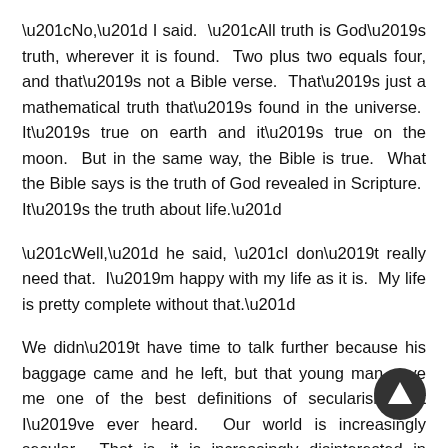“No,” I said.  “All truth is God’s truth, wherever it is found.  Two plus two equals four, and that’s not a Bible verse.  That’s just a mathematical truth that’s found in the universe.  It’s true on earth and it’s true on the moon.  But in the same way, the Bible is true.  What the Bible says is the truth of God revealed in Scripture.  It’s the truth about life.”
“Well,” he said, “I don’t really need that.  I’m happy with my life as it is.  My life is pretty complete without that.”
We didn’t have time to talk further because his baggage came and he left, but that young man gave me one of the best definitions of secularism that I’ve ever heard.  Our world is increasingly secular.  That is, it is increasingly disinterested in anything having to do with God or religion or with God’s revealed truth in Scripture.  The attitude of the world is “I don’t really need that.  I’m happy with my life as it is.  I am complete without that.”